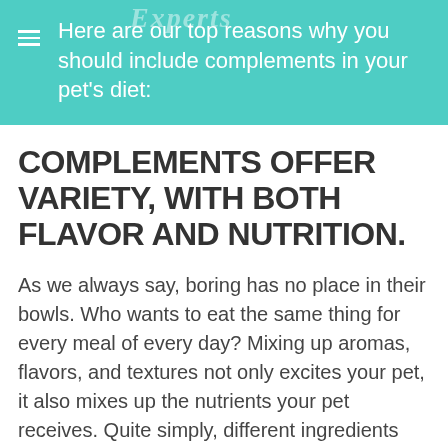Here are our top reasons why you should include complements in your pet’s diet:
COMPLEMENTS OFFER VARIETY, WITH BOTH FLAVOR AND NUTRITION.
As we always say, boring has no place in their bowls. Who wants to eat the same thing for every meal of every day? Mixing up aromas, flavors, and textures not only excites your pet, it also mixes up the nutrients your pet receives. Quite simply, different ingredients provide different vitamins, minerals, amino